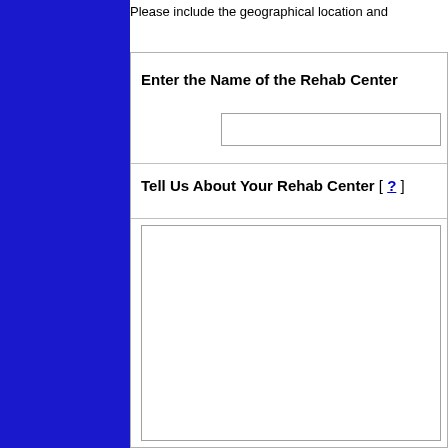Please include the geographical location and
Enter the Name of the Rehab Center
Tell Us About Your Rehab Center [ ? ]